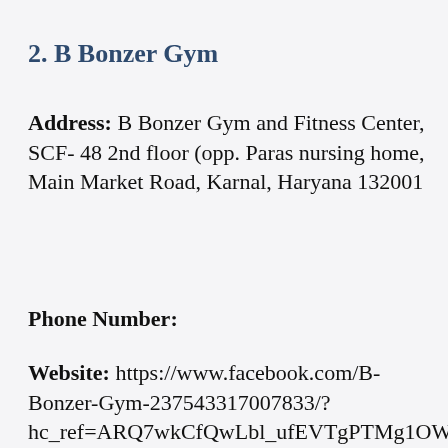2. B Bonzer Gym
Address: B Bonzer Gym and Fitness Center, SCF- 48 2nd floor (opp. Paras nursing home, Main Market Road, Karnal, Haryana 132001
Phone Number:
Website: https://www.facebook.com/B-Bonzer-Gym-237543317007833/?hc_ref=ARQ7wkCfQwLbl_ufEVTgPTMg1OWgRLQFW_L3p66pz1fCIM5aCCrym3oo